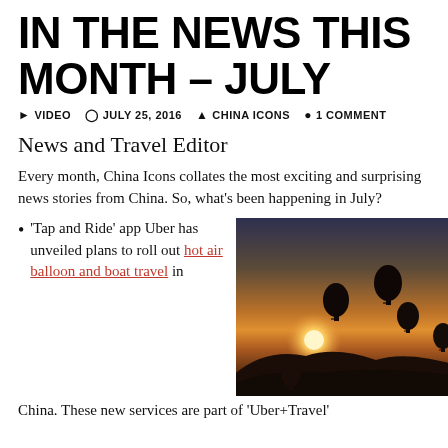IN THE NEWS THIS MONTH – JULY
▶ VIDEO   ⊙ JULY 25, 2016   ▲ CHINA ICONS   ● 1 COMMENT
News and Travel Editor
Every month, China Icons collates the most exciting and surprising news stories from China. So, what's been happening in July?
'Tap and Ride' app Uber has unveiled plans to roll out hot air balloon and boat travel in
[Figure (photo): Hot air balloons silhouetted against a golden sunset sky over hills]
China. These new services are part of 'Uber+Travel'